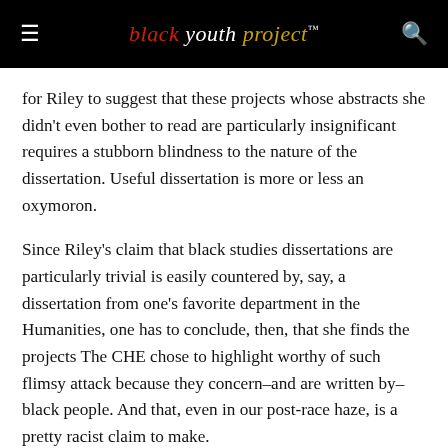black youth project™
for Riley to suggest that these projects whose abstracts she didn't even bother to read are particularly insignificant requires a stubborn blindness to the nature of the dissertation. Useful dissertation is more or less an oxymoron.
Since Riley's claim that black studies dissertations are particularly trivial is easily countered by, say, a dissertation from one's favorite department in the Humanities, one has to conclude, then, that she finds the projects The CHE chose to highlight worthy of such flimsy attack because they concern–and are written by–black people. And that, even in our post-race haze, is a pretty racist claim to make.
The Northwestern black studies faculty were compelled to